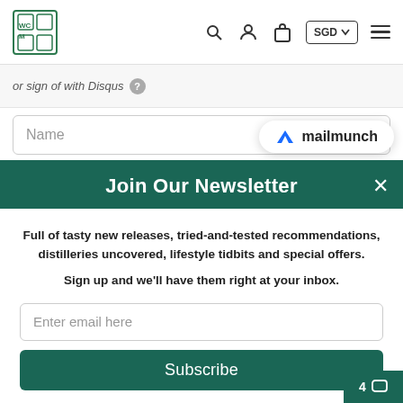[Figure (screenshot): Website navigation bar with a logo (WCM branding), search icon, user icon, bag icon, SGD currency selector, and hamburger menu]
or sign of with Disqus
Name
[Figure (logo): Mailmunch logo badge with blue M icon and 'mailmunch' wordmark]
Join Our Newsletter
Full of tasty new releases, tried-and-tested recommendations, distilleries uncovered, lifestyle tidbits and special offers.

Sign up and we'll have them right at your inbox.
Enter email here
Subscribe